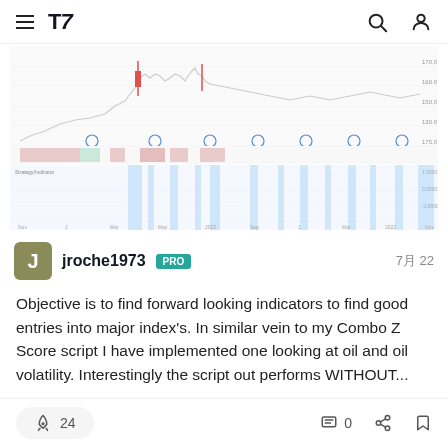TradingView navigation header with hamburger menu, logo, search, and account icons
[Figure (screenshot): TradingView chart screenshot showing a financial index chart with price data, indicators, and blue highlighted columns below the price panel indicating signals.]
jroche1973  PRO  7月 22
Objective is to find forward looking indicators to find good entries into major index's. In similar vein to my Combo Z Score script I have implemented one looking at oil and oil volatility. Interestingly the script out performs WITHOUT...
🚀 24   0